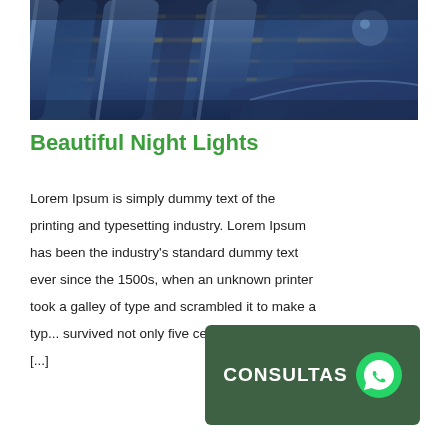[Figure (photo): Industrial machinery photo showing large cylindrical rollers or tubes with metallic blue tones and motion blur effect, likely a printing press or industrial equipment.]
Beautiful Night Lights
Lorem Ipsum is simply dummy text of the printing and typesetting industry. Lorem Ipsum has been the industry's standard dummy text ever since the 1500s, when an unknown printer took a galley of type and scrambled it to make a typ... survived not only five cent... [...]
[Figure (other): Green rounded rectangle button with white bold text 'CONSULTAS' and a WhatsApp phone logo icon on the right.]